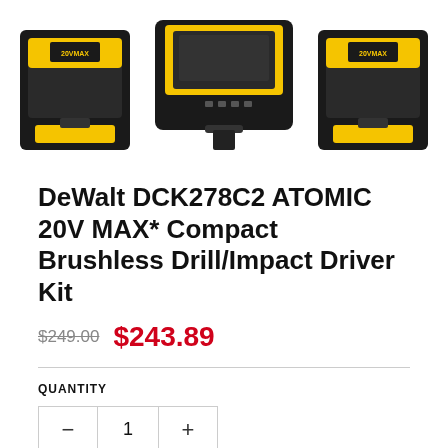[Figure (photo): DeWalt DCK278C2 product photo showing two compact batteries and a charger on white background]
DeWalt DCK278C2 ATOMIC 20V MAX* Compact Brushless Drill/Impact Driver Kit
$249.00  $243.89
QUANTITY
1
ADD TO CART